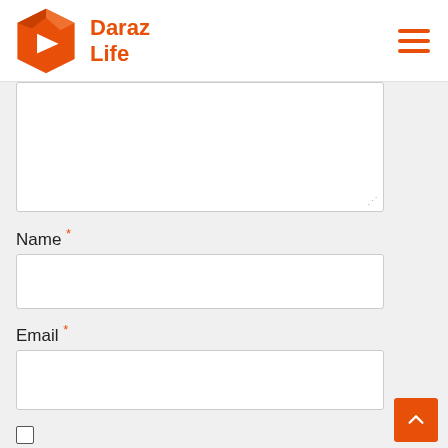Daraz Life
Name *
Email *
Save my name, email, and website in this browser for the next time I comment.